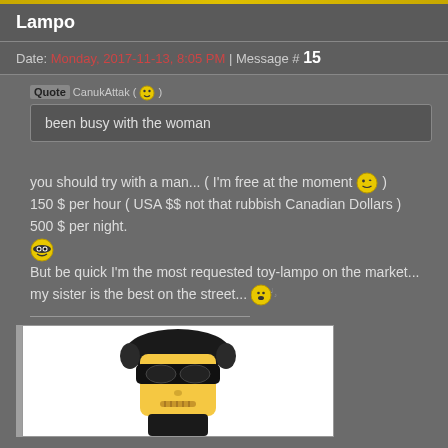Lampo
Date: Monday, 2017-11-13, 8:05 PM | Message # 15
Quote CanukAttak ( )
been busy with the woman
you should try with a man... ( I'm free at the moment ) 150 $ per hour ( USA $$ not that rubbish Canadian Dollars ) 500 $ per night.
But be quick I'm the most requested toy-lampo on the market... my sister is the best on the street...
[Figure (illustration): Lego-style character with black helmet and sunglasses, looking stern]